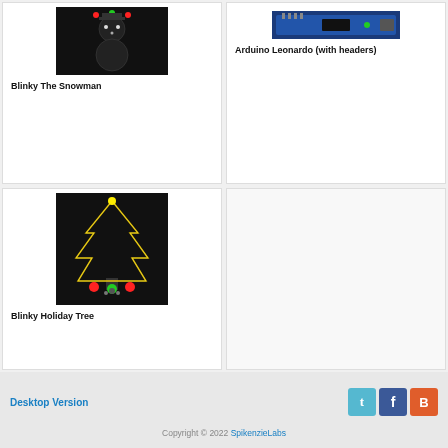[Figure (photo): Blinky The Snowman product photo on black background with colored LEDs]
Blinky The Snowman
[Figure (photo): Arduino Leonardo (with headers) board on blue PCB]
Arduino Leonardo (with headers)
[Figure (photo): Blinky Holiday Tree with glowing tree outline and colored LEDs on black background]
Blinky Holiday Tree
Desktop Version   Copyright © 2022 SpikenzieLabs